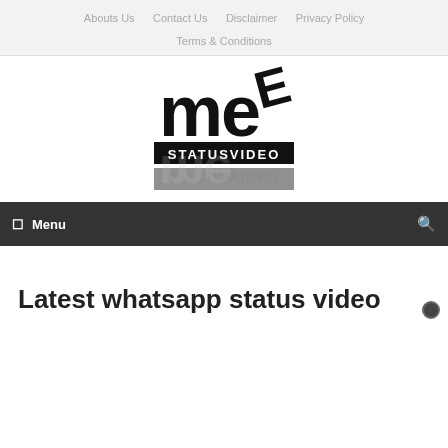Abouts Us   Contact Us   Disclaimer   Privacy Policy   Terms & Conditions
[Figure (logo): ME StatusVideo logo — bold black stylized letters 'me' with 'STATUSVIDEO' text below, with a mirrored reflection beneath]
☰  Menu
Latest whatsapp status video